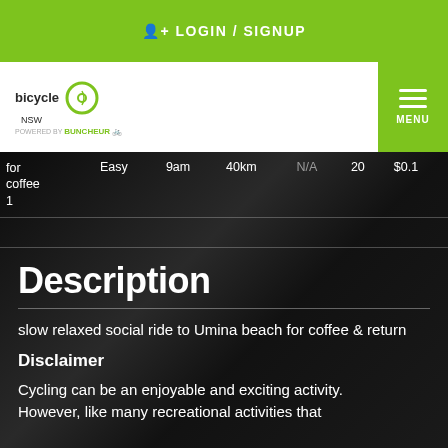LOGIN / SIGNUP
[Figure (logo): Bicycle NSW logo with green circle icon and 'powered by Bunch Ride' text]
| for coffee 1 | Easy | 9am | 40km | N/A | 20 | $0.1 |
| --- | --- | --- | --- | --- | --- | --- |
Description
slow relaxed social ride to Umina beach for coffee & return
Disclaimer
Cycling can be an enjoyable and exciting activity. However, like many recreational activities that